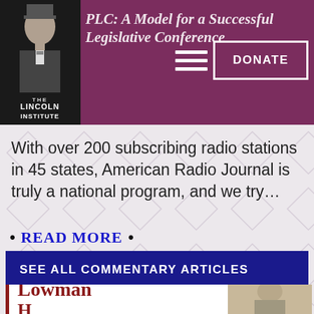PLC: A Model for a Successful Legislative Conference
[Figure (logo): Lincoln Institute logo with Abraham Lincoln bust silhouette and text 'THE LINCOLN INSTITUTE']
With over 200 subscribing radio stations in 45 states, American Radio Journal is truly a national program, and we try...
• READ MORE •
SEE ALL COMMENTARY ARTICLES
[Figure (photo): Partial photo of a man named Lowman H... with a red serif text overlay showing 'Lowman H...']